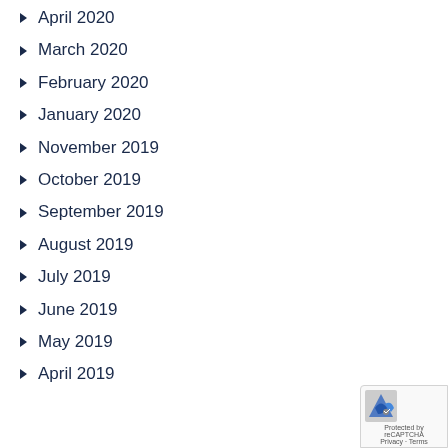April 2020
March 2020
February 2020
January 2020
November 2019
October 2019
September 2019
August 2019
July 2019
June 2019
May 2019
April 2019